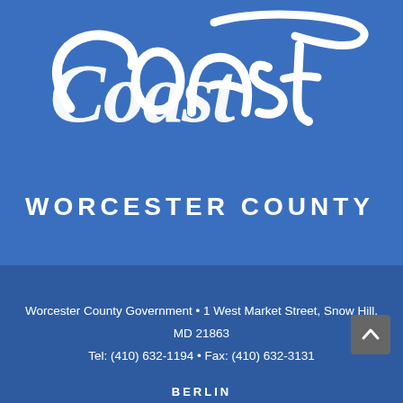[Figure (logo): Coast Worcester County logo — white cursive 'Coast' script over blue background with 'WORCESTER COUNTY' in white sans-serif capitals below]
Worcester County Government • 1 West Market Street, Snow Hill, MD 21863
Tel: (410) 632-1194 • Fax: (410) 632-3131
BERLIN